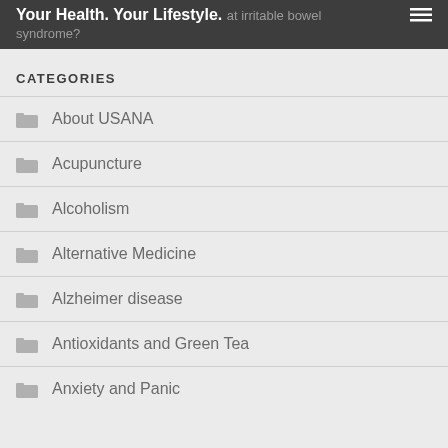Your Health. Your Lifestyle. at irritable bowel syndrome?
CATEGORIES
About USANA
Acupuncture
Alcoholism
Alternative Medicine
Alzheimer disease
Antioxidants and Green Tea
Anxiety and Panic